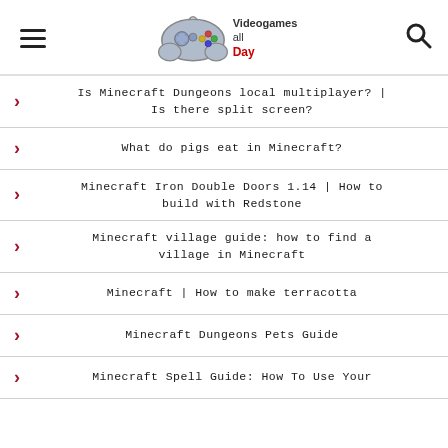Videogames all Day — website header with logo, hamburger menu, and search icon
Is Minecraft Dungeons local multiplayer? | Is there split screen?
What do pigs eat in Minecraft?
Minecraft Iron Double Doors 1.14 | How to build with Redstone
Minecraft village guide: how to find a village in Minecraft
Minecraft | How to make terracotta
Minecraft Dungeons Pets Guide
Minecraft Spell Guide: How To Use Your